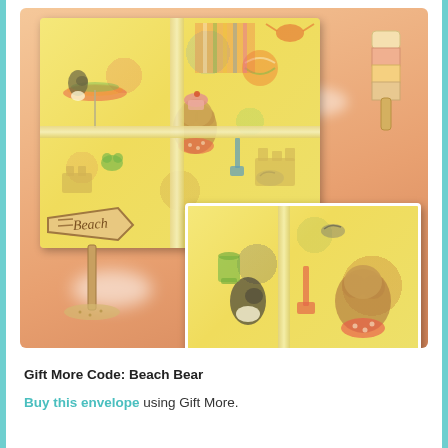[Figure (photo): Product image showing a fabric envelope/wallet with a beach-themed fabric print featuring bears, penguins, sandcastles, beach umbrellas on a yellow background. A ribbon closure is visible. There is a close-up inset image in the lower right showing detail of the fabric with a bear in a polka dot swimsuit. Decorative illustrated elements overlay: a beach sign saying 'Beach', a colorful popsicle/ice lolly, and peach/orange gradient background with cloud wisps.]
Gift More Code: Beach Bear
Buy this envelope using Gift More.